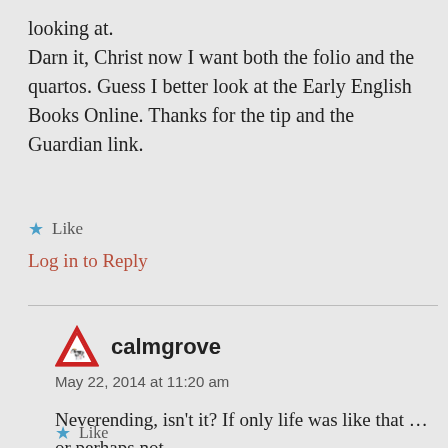looking at.
Darn it, Christ now I want both the folio and the quartos. Guess I better look at the Early English Books Online. Thanks for the tip and the Guardian link.
★ Like
Log in to Reply
calmgrove
May 22, 2014 at 11:20 am
Neverending, isn't it? If only life was like that … or perhaps not.
★ Like